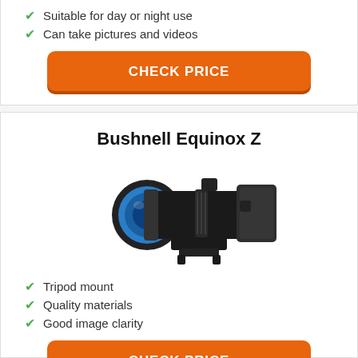Suitable for day or night use
Can take pictures and videos
CHECK PRICE
Bushnell Equinox Z
[Figure (photo): Bushnell Equinox Z night vision scope, black body with blue lens, mounted on rail]
Tripod mount
Quality materials
Good image clarity
CHECK PRICE